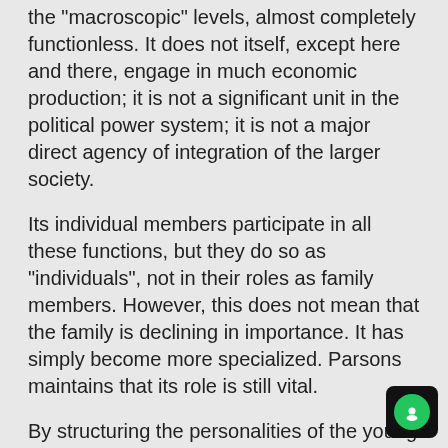the "macroscopic" levels, almost completely functionless. It does not itself, except here and there, engage in much economic production; it is not a significant unit in the political power system; it is not a major direct agency of integration of the larger society.
Its individual members participate in all these functions, but they do so as "individuals", not in their roles as family members. However, this does not mean that the family is declining in importance. It has simply become more specialized. Parsons maintains that its role is still vital.
By structuring the personalities of the young and stabilizing the personalities of adults, the family provides its members with the psychological training and support necessary to meet the requirements of the social system.
This view is supported by N. Dennis who argues that impersonal bureaucratic agencies have taken over